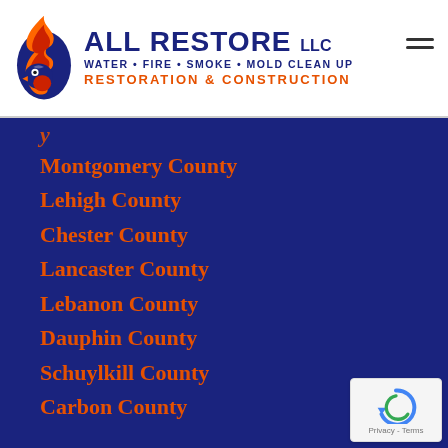[Figure (logo): All Restore LLC logo with flame and bird icon. Text: ALL RESTORE LLC, WATER • FIRE • SMOKE • MOLD CLEAN UP, RESTORATION & CONSTRUCTION]
Montgomery County
Lehigh County
Chester County
Lancaster County
Lebanon County
Dauphin County
Schuylkill County
Carbon County